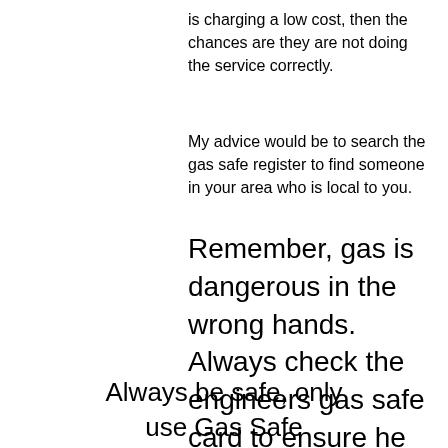is charging a low cost, then the chances are they are not doing the service correctly.
My advice would be to search the gas safe register to find someone in your area who is local to you.
Remember, gas is dangerous in the wrong hands. Always check the engineers gas safe card to ensure he is qualified to service your boiler.
Always be safe, only use Gas Safe